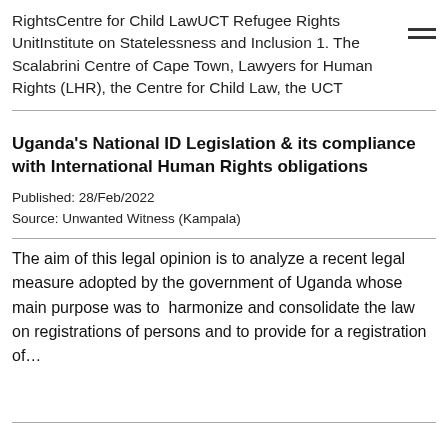RightsCentre for Child LawUCT Refugee Rights UnitInstitute on Statelessness and Inclusion 1. The Scalabrini Centre of Cape Town, Lawyers for Human Rights (LHR), the Centre for Child Law, the UCT
Uganda's National ID Legislation & its compliance with International Human Rights obligations
Published: 28/Feb/2022
Source: Unwanted Witness (Kampala)
The aim of this legal opinion is to analyze a recent legal measure adopted by the government of Uganda whose main purpose was to  harmonize and consolidate the law on registrations of persons and to provide for a registration of…